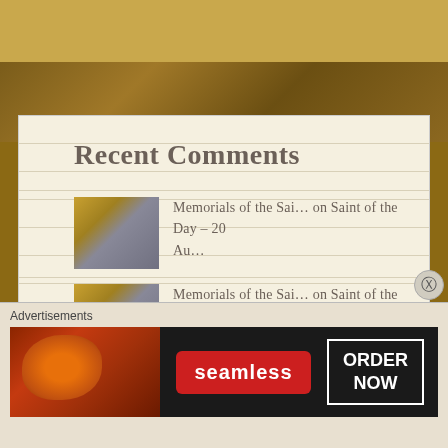Recent Comments
Memorials of the Sai… on Saint of the Day – 20 Au…
Memorials of the Sai… on Saint of the Day – 20 Au…
Memorials of the Sai… on Saint of the Day – 20 Au…
Memorials of the Sai… on Saint of the Day – 20
Advertisements
[Figure (screenshot): Seamless food delivery advertisement banner showing pizza and ORDER NOW button]